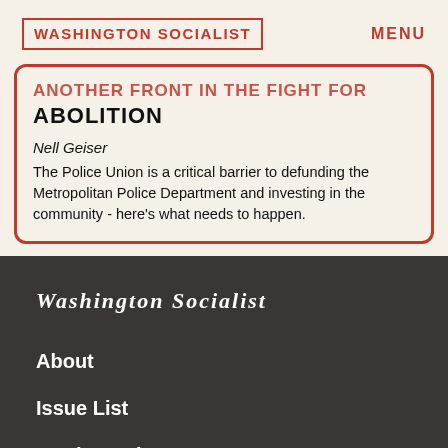WASHINGTON SOCIALIST   MENU
ANOTHER FRONT IN THE FIGHT FOR ABOLITION
Nell Geiser
The Police Union is a critical barrier to defunding the Metropolitan Police Department and investing in the community - here's what needs to happen.
WASHINGTON SOCIALIST
About
Issue List
Stories Hub